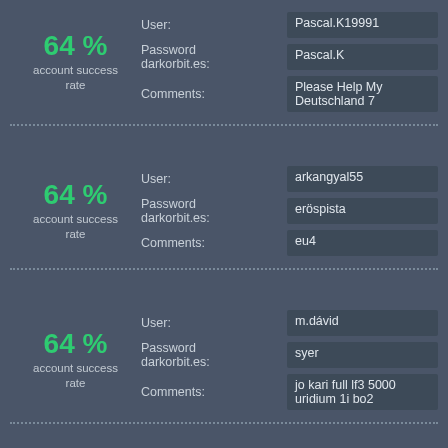64 % account success rate | User: Pascal.K19991 | Password darkorbit.es: Pascal.K | Comments: Please Help My Deutschland 7
64 % account success rate | User: arkangyal55 | Password darkorbit.es: eröspista | Comments: eu4
64 % account success rate | User: m.dávid | Password darkorbit.es: syer | Comments: jo kari full lf3 5000 uridium 1i bo2
63 % account success rate | User: HansMistikon | Password: compel